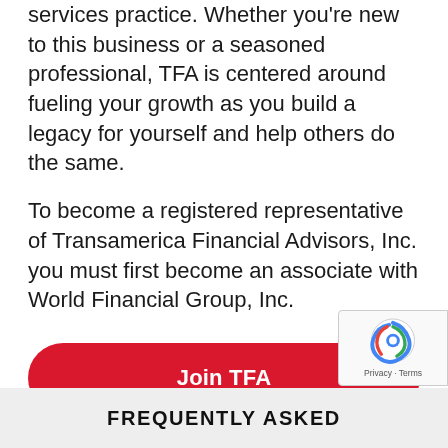services practice. Whether you're new to this business or a seasoned professional, TFA is centered around fueling your growth as you build a legacy for yourself and help others do the same.
To become a registered representative of Transamerica Financial Advisors, Inc. you must first become an associate with World Financial Group, Inc.
Join TFA
FREQUENTLY ASKED